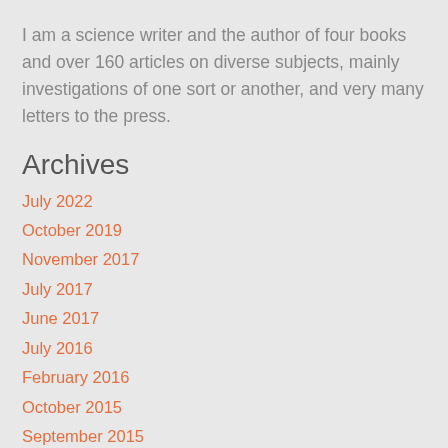I am a science writer and the author of four books and over 160 articles on diverse subjects, mainly investigations of one sort or another, and very many letters to the press.
Archives
July 2022
October 2019
November 2017
July 2017
June 2017
July 2016
February 2016
October 2015
September 2015
August 2015
June 2015
April 2015